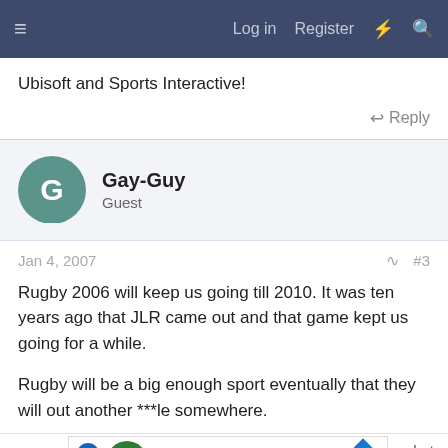≡   Log in   Register   ⚡   🔍
Ubisoft and Sports Interactive!
Reply
Gay-Guy
Guest
Jan 4, 2007   #3
Rugby 2006 will keep us going till 2010. It was ten years ago that JLR came out and that game kept us going for a while.
Rugby will be a big enough sport eventually that they will out another ***le somewhere.
JLR C... what
EA will X... of